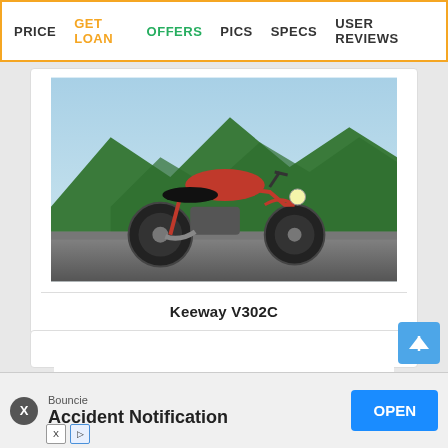PRICE  GET LOAN  OFFERS  PICS  SPECS  USER REVIEWS
[Figure (photo): Red Keeway V302C motorcycle on a road with green mountain background]
Keeway V302C
[Figure (photo): Dark blue/grey Yezdi Roadster Dark motorcycle on white background]
Yezdi Roadster Dark
[Figure (other): Advertisement banner for Bouncie Accident Notification with OPEN button]